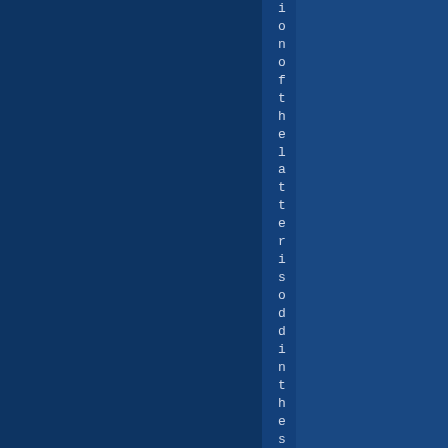[Figure (other): Dark blue background page with vertical text reading 'of the latter is odding the same way' displayed character by character from top to bottom in a narrow center column, with a slightly lighter blue vertical strip behind the text.]